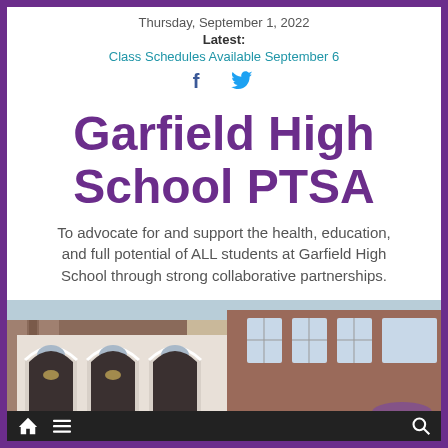Thursday, September 1, 2022
Latest:
Class Schedules Available September 6
[Figure (other): Facebook and Twitter social media icons]
Garfield High School PTSA
To advocate for and support the health, education, and full potential of ALL students at Garfield High School through strong collaborative partnerships.
[Figure (photo): Exterior photo of Garfield High School building showing ornate white stone arches on the left and brick facade with windows on the right]
Navigation bar with home icon, menu icon, and search icon